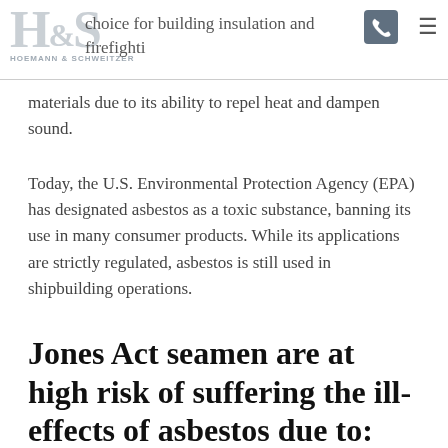H&S HOEMANN & SCHWEITZER — choice for building insulation and firefighting materials due to its ability to repel heat and dampen sound.
choice for building insulation and firefighting materials due to its ability to repel heat and dampen sound.
Today, the U.S. Environmental Protection Agency (EPA) has designated asbestos as a toxic substance, banning its use in many consumer products. While its applications are strictly regulated, asbestos is still used in shipbuilding operations.
Jones Act seamen are at high risk of suffering the ill-effects of asbestos due to: